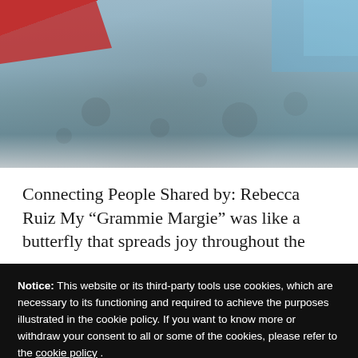[Figure (photo): Outdoor photo showing a snowy or icy ground surface with a person in a red jacket partially visible at the top, and blue-tinted icy textures.]
Connecting People Shared by: Rebecca Ruiz My “Grammie Margie” was like a butterfly that spreads joy throughout the
Notice: This website or its third-party tools use cookies, which are necessary to its functioning and required to achieve the purposes illustrated in the cookie policy. If you want to know more or withdraw your consent to all or some of the cookies, please refer to the cookie policy . By closing this banner, scrolling this page, clicking a link or continuing to browse otherwise, you agree to the use of cookies.
OK